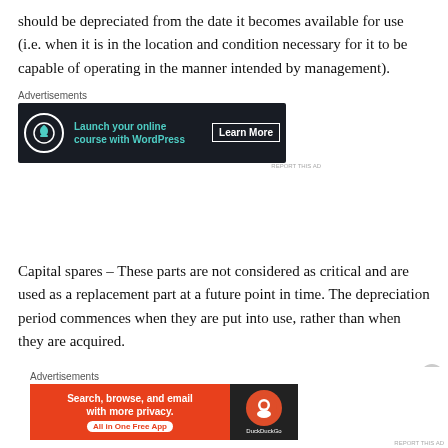should be depreciated from the date it becomes available for use (i.e. when it is in the location and condition necessary for it to be capable of operating in the manner intended by management).
[Figure (other): Advertisement banner: dark background with bonsai tree icon, text 'Launch your online course with WordPress', and 'Learn More' button]
Capital spares – These parts are not considered as critical and are used as a replacement part at a future point in time. The depreciation period commences when they are put into use, rather than when they are acquired.
Example of capital spares, an entity buys 4 machines
[Figure (other): Advertisement banner: DuckDuckGo ad with orange/red background, text 'Search, browse, and email with more privacy. All in One Free App' and DuckDuckGo logo on dark background]